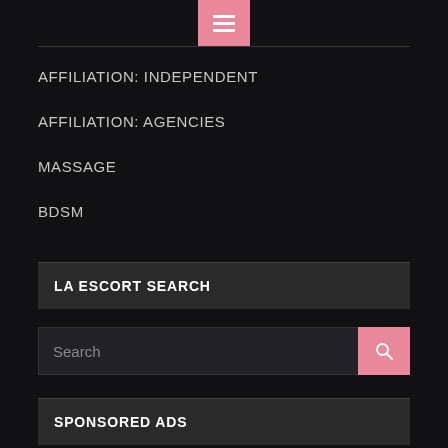AFFILIATION: INDEPENDENT
AFFILIATION: AGENCIES
MASSAGE
BDSM
LA ESCORT SEARCH
Search
SPONSORED ADS